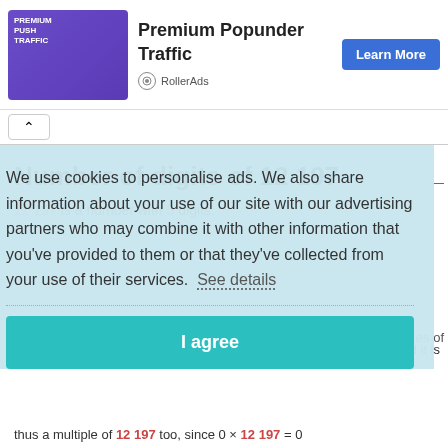[Figure (infographic): Advertisement banner for Premium Popunder Traffic by RollerAds, with a Learn More button]
Premium Popunder Traffic
RollerAds
Number of digits of 12 197
12 197 is a number with 5 digits.
We use cookies to personalise ads. We also share information about your use of our site with our advertising partners who may combine it with other information that you've provided to them or that they've collected from your use of their services.  See details
I agree
es of
d it is
thus a multiple of 12 197 too, since 0 × 12 197 = 0